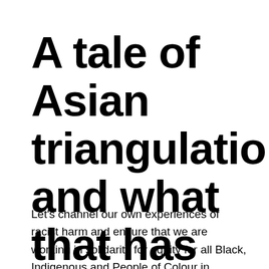A tale of Asian triangulation and what that has to do with racism.
Let's channel our own experiences of racist harm and ensure that we are working in solidarity for equity for all Black, Indigenous and People of Colour in Canada Introductory Preface: My